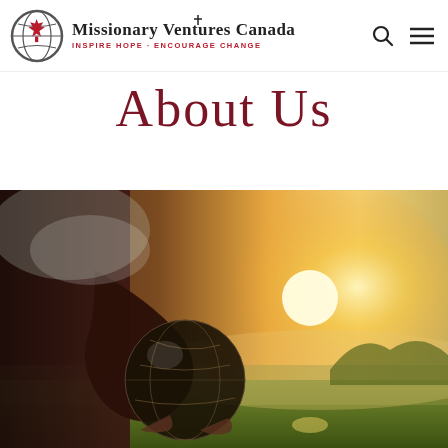[Figure (logo): Missionary Ventures Canada logo with maple leaf and globe icon, tagline: INSPIRE HOPE · ENCOURAGE CHANGE]
About Us
[Figure (photo): Person holding a dark globe/world ball against a bright golden sunset background with green grass, wearing dark red clothing]